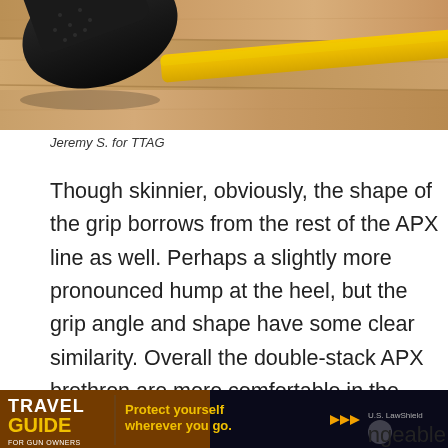[Figure (photo): Close-up photo of a rubber mallet head on a wooden surface with a yellow handle visible at the right edge.]
Jeremy S. for TTAG
Though skinnier, obviously, the shape of the grip borrows from the rest of the APX line as well. Perhaps a slightly more pronounced hump at the heel, but the grip angle and shape have some clear similarity. Overall the double-stack APX brethren are more comfortable in the hand and more ergonomic than their single-stack baby brother, but that’s to be expected.
[Figure (screenshot): Travel Guide for Gun Owners advertisement banner: 'Protect yourself wherever you go.' with U.S. LawShield logo.]